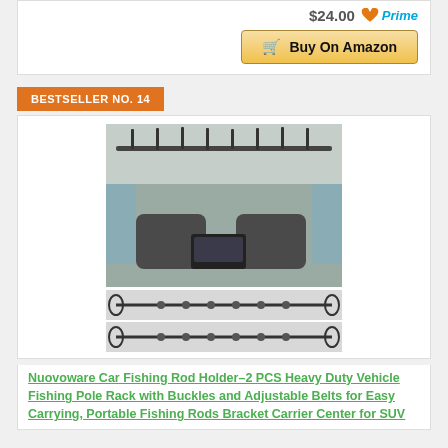[Figure (other): Buy On Amazon button with price $24.00 and Prime badge]
BESTSELLER NO. 14
[Figure (photo): Car interior with fishing rod holder rack mounted to ceiling, holding multiple fishing rods. Below are two product images of the rod holder straps.]
Nuovoware Car Fishing Rod Holder–2 PCS Heavy Duty Vehicle Fishing Pole Rack with Buckles and Adjustable Belts for Easy Carrying, Portable Fishing Rods Bracket Carrier Center for SUV